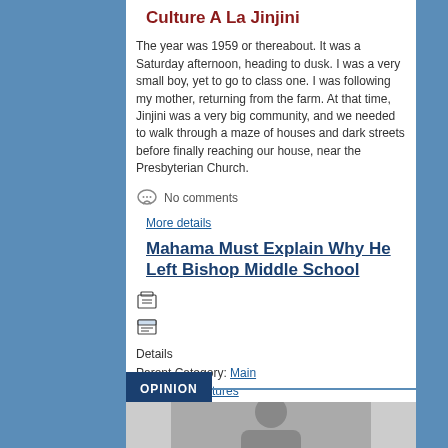Culture A La Jinjini
The year was 1959 or thereabout. It was a Saturday afternoon, heading to dusk. I was a very small boy, yet to go to class one. I was following my mother, returning from the farm. At that time, Jinjini was a very big community, and we needed to walk through a maze of houses and dark streets before finally reaching our house, near the Presbyterian Church.
No comments
More details
Mahama Must Explain Why He Left Bishop Middle School
Details
Parent Category: Main
Category: Features
Created on Monday, 26 November 2012 00:00
Hits: 50945
OPINION
[Figure (photo): Partial photo at bottom of page]